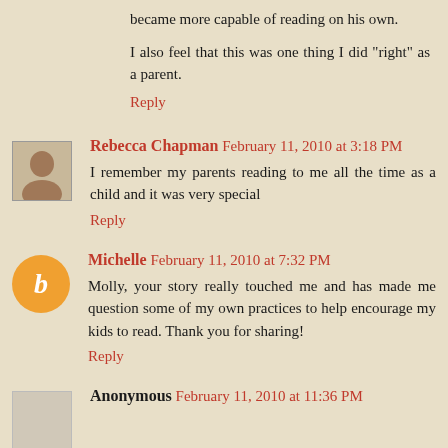became more capable of reading on his own.
I also feel that this was one thing I did "right" as a parent.
Reply
Rebecca Chapman  February 11, 2010 at 3:18 PM
I remember my parents reading to me all the time as a child and it was very special
Reply
Michelle  February 11, 2010 at 7:32 PM
Molly, your story really touched me and has made me question some of my own practices to help encourage my kids to read. Thank you for sharing!
Reply
Anonymous  February 11, 2010 at 11:36 PM